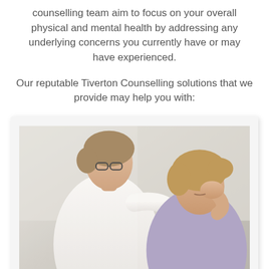counselling team aim to focus on your overall physical and mental health by addressing any underlying concerns you currently have or may have experienced.
Our reputable Tiverton Counselling solutions that we provide may help you with:
[Figure (photo): A counsellor in a white coat placing a hand on the shoulder of a distressed young woman with her head in her hand, seated in a clinical setting.]